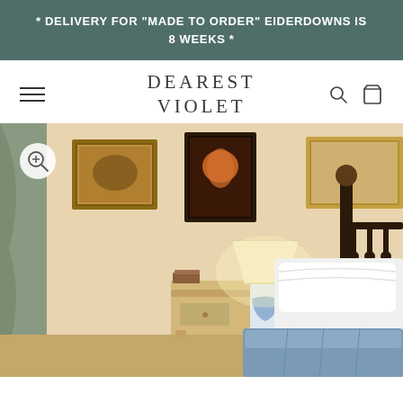* DELIVERY FOR "MADE TO ORDER" EIDERDOWNS IS 8 WEEKS *
DEAREST VIOLET
[Figure (photo): Cozy bedroom scene with an iron bed frame, white pillows, blue eiderdown, bedside table with a lit lamp, and framed artwork on the wall.]